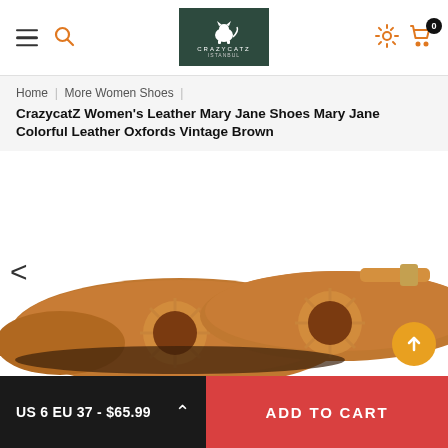CrazycatZ logo header with hamburger menu, search, settings, and cart icons
Home | More Women Shoes | CrazycatZ Women's Leather Mary Jane Shoes Mary Jane Colorful Leather Oxfords Vintage Brown
[Figure (photo): Close-up photo of tan/brown leather Mary Jane shoes with decorative cutout floral pattern and ankle strap with gold buckle, shown at an angle on a white background]
US 6 EU 37 - $65.99
ADD TO CART